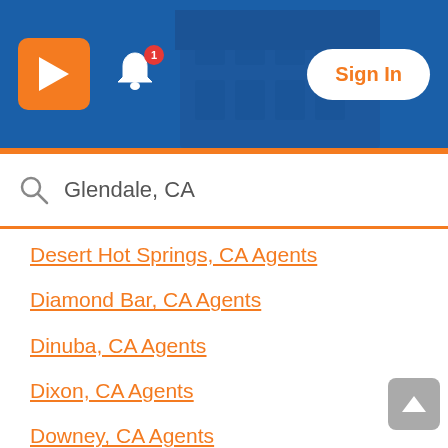[Figure (screenshot): App header with blue background, Realtor R logo in orange, bell notification icon with red badge showing 1, and Sign In button on white pill]
Glendale, CA
Desert Hot Springs, CA Agents
Diamond Bar, CA Agents
Dinuba, CA Agents
Dixon, CA Agents
Downey, CA Agents
Duarte, CA Agents
Dublin, CA Agents
East Foothills, CA Agents
East Hemet, CA Agents
East La Mirada, CA Agents
East Palo Alto, CA Agents
East San Gabriel, CA Agents